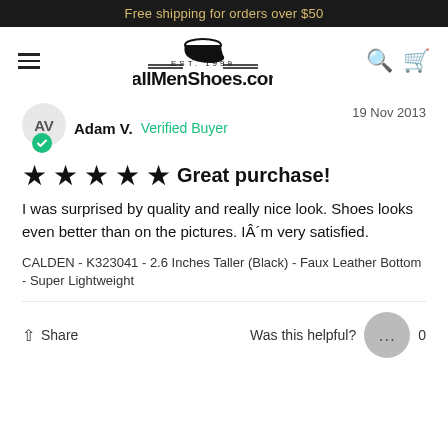Free shipping for orders over $50
[Figure (logo): TallMenShoes.com logo with shoe icon, EST. 1999, hamburger menu, search and cart icons]
Adam V.  Verified Buyer  19 Nov 2013
★★★★★  Great purchase!
I was surprised by quality and really nice look. Shoes looks even better than on the pictures. IÂ´m very satisfied.
CALDEN - K323041 - 2.6 Inches Taller (Black) - Faux Leather Bottom - Super Lightweight
Share  Was this helpful?  0